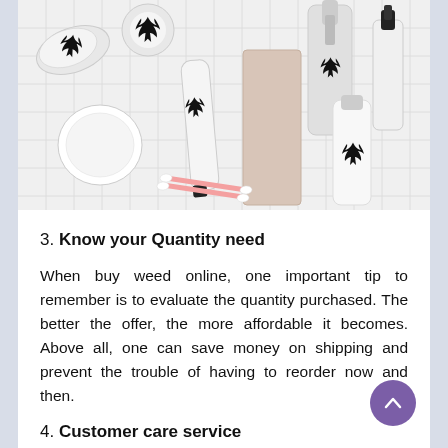[Figure (photo): Flat lay of various cannabis / CBD skincare and beauty products — tubes, bottles, dropper, cotton pads, cotton swabs — arranged on a white grid-pattern background, each product adorned with cannabis leaf logos.]
3. Know your Quantity need
When buy weed online, one important tip to remember is to evaluate the quantity purchased. The better the offer, the more affordable it becomes. Above all, one can save money on shipping and prevent the trouble of having to reorder now and then.
4. Customer care service